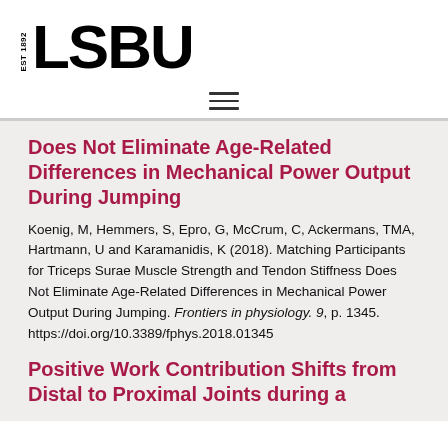EST 1892 LSBU
Does Not Eliminate Age-Related Differences in Mechanical Power Output During Jumping
Koenig, M, Hemmers, S, Epro, G, McCrum, C, Ackermans, TMA, Hartmann, U and Karamanidis, K (2018). Matching Participants for Triceps Surae Muscle Strength and Tendon Stiffness Does Not Eliminate Age-Related Differences in Mechanical Power Output During Jumping. Frontiers in physiology. 9, p. 1345. https://doi.org/10.3389/fphys.2018.01345
Positive Work Contribution Shifts from Distal to Proximal Joints during a